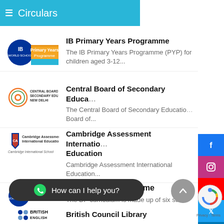Circulars
IB Primary Years Programme — The IB Primary Years Programme (PYP) for children aged 3-12...
Central Board of Secondary Education — The Central Board of Secondary Education Board of...
Cambridge Assessment International Education — Cambridge Assessment International Education...
IB Diploma Programme — The DP curriculum is made up of six su core...
British Council Library